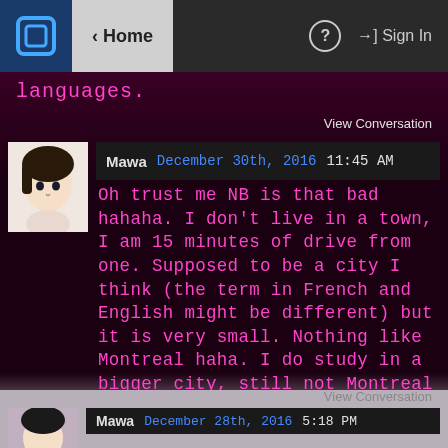< Home  ?  Sign In
languages.
View Conversation
Mawa  December 30th, 2016  11:45 AM
Oh trust me NB is that bad hahaha. I don't live in a town, I am 15 minutes of drive from one. Supposed to be a city I think (the term in French and English might be different) but it is very small. Nothing like Montreal haha. I do study in a bigger city, still not Montreal but yeah a nice city too. The problem is I speak French and the city is an english one. Well supposed to be billingual but.... yeah. Supposed.
View Conversation
Mawa  December 28th, 2016  5:18 PM